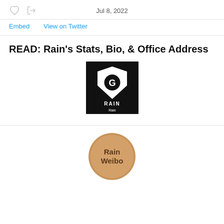Jul 8, 2022
Embed   View on Twitter
READ: Rain's Stats, Bio, & Office Address
[Figure (logo): Rain logo - black square with white shield/gear icon and text 'RAIN' and 'Rain']
[Figure (logo): Rain Weibo circular badge in tan/brown color with text 'Rain Weibo']